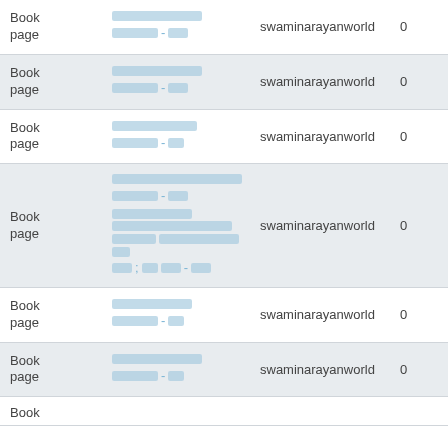| Type | Title | Author | Count |
| --- | --- | --- | --- |
| Book page | [redacted link] | swaminarayanworld | 0 |
| Book page | [redacted link] | swaminarayanworld | 0 |
| Book page | [redacted link] | swaminarayanworld | 0 |
| Book page | [redacted link - multiline] | swaminarayanworld | 0 |
| Book page | [redacted link] | swaminarayanworld | 0 |
| Book page | [redacted link] | swaminarayanworld | 0 |
| Book |  |  |  |